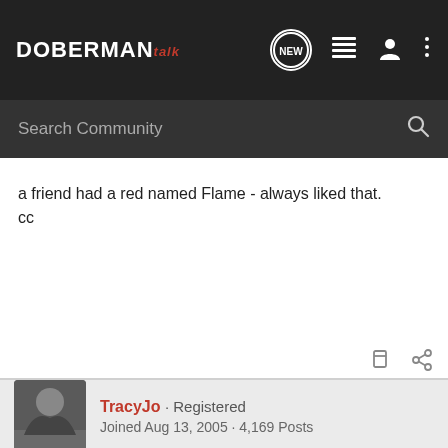DOBERMAN talk — navigation header with search bar
a friend had a red named Flame - always liked that.
cc
TracyJo · Registered
Joined Aug 13, 2005 · 4,169 Posts
#9 · Jan 31, 2006
What a cutie 🙂 It's hard to believe they all start out so small